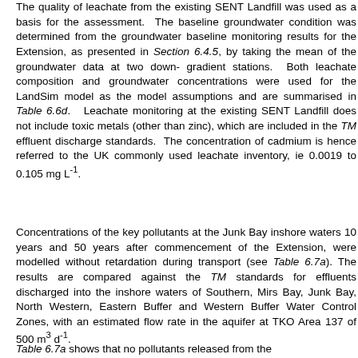The quality of leachate from the existing SENT Landfill was used as a basis for the assessment. The baseline groundwater condition was determined from the groundwater baseline monitoring results for the Extension, as presented in Section 6.4.5, by taking the mean of the groundwater data at two down-gradient stations. Both leachate composition and groundwater concentrations were used for the LandSim model as the model assumptions and are summarised in Table 6.6d. Leachate monitoring at the existing SENT Landfill does not include toxic metals (other than zinc), which are included in the TM effluent discharge standards. The concentration of cadmium is hence referred to the UK commonly used leachate inventory, ie 0.0019 to 0.105 mg L-1.
Concentrations of the key pollutants at the Junk Bay inshore waters 10 years and 50 years after commencement of the Extension, were modelled without retardation during transport (see Table 6.7a). The results are compared against the TM standards for effluents discharged into the inshore waters of Southern, Mirs Bay, Junk Bay, North Western, Eastern Buffer and Western Buffer Water Control Zones, with an estimated flow rate in the aquifer at TKO Area 137 of 500 m3 d-1.
Table 6.7a shows that no pollutants released from the